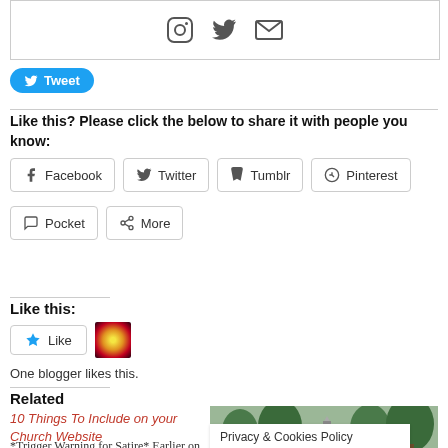[Figure (other): Box with social media icons: Instagram circle, Twitter bird, and email envelope]
[Figure (other): Blue Twitter Tweet button with bird icon]
Like this? Please click the below to share it with people you know:
[Figure (other): Social sharing buttons: Facebook, Twitter, Tumblr, Pinterest, Pocket, More]
Like this:
[Figure (other): Like button widget with star icon and a blogger avatar thumbnail]
One blogger likes this.
Related
10 Things To Include on your Church Website
*Trigger Warning for Satire* Earlier on today,
[Figure (photo): Outdoor photo showing trees and a church steeple with text overlay 'looking for a new']
Privacy & Cookies Policy